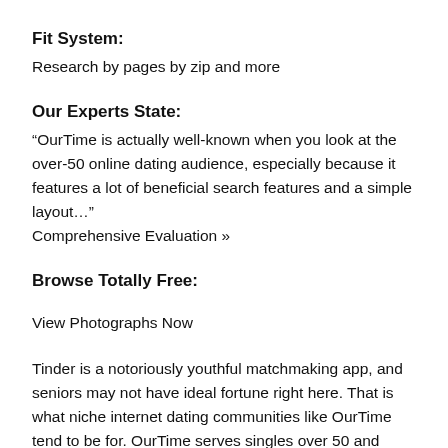Fit System:
Research by pages by zip and more
Our Experts State:
“OurTime is actually well-known when you look at the over-50 online dating audience, especially because it features a lot of beneficial search features and a simple layout…”
Comprehensive Evaluation »
Browse Totally Free:
View Photographs Now
Tinder is a notoriously youthful matchmaking app, and seniors may not have ideal fortune right here. That is what niche internet dating communities like OurTime tend to be for. OurTime serves singles over 50 and